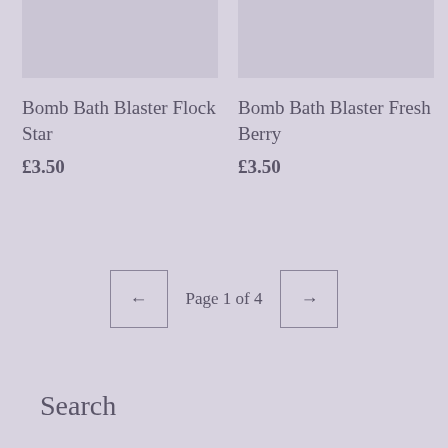[Figure (photo): Product image placeholder for Bomb Bath Blaster Flock Star]
[Figure (photo): Product image placeholder for Bomb Bath Blaster Fresh Berry]
Bomb Bath Blaster Flock Star
£3.50
Bomb Bath Blaster Fresh Berry
£3.50
Page 1 of 4
Search